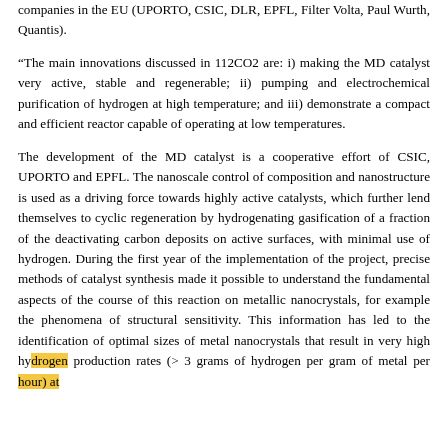companies in the EU (UPORTO, CSIC, DLR, EPFL, Filter Volta, Paul Wurth, Quantis).
“The main innovations discussed in 112CO2 are: i) making the MD catalyst very active, stable and regenerable; ii) pumping and electrochemical purification of hydrogen at high temperature; and iii) demonstrate a compact and efficient reactor capable of operating at low temperatures.
The development of the MD catalyst is a cooperative effort of CSIC, UPORTО and EPFL. The nanoscale control of composition and nanostructure is used as a driving force towards highly active catalysts, which further lend themselves to cyclic regeneration by hydrogenating gasification of a fraction of the deactivating carbon deposits on active surfaces, with minimal use of hydrogen. During the first year of the implementation of the project, precise methods of catalyst synthesis made it possible to understand the fundamental aspects of the course of this reaction on metallic nanocrystals, for example the phenomena of structural sensitivity. This information has led to the identification of optimal sizes of metal nanocrystals that result in very high hydrogen production rates (> 3 grams of hydrogen per gram of metal per hour) at